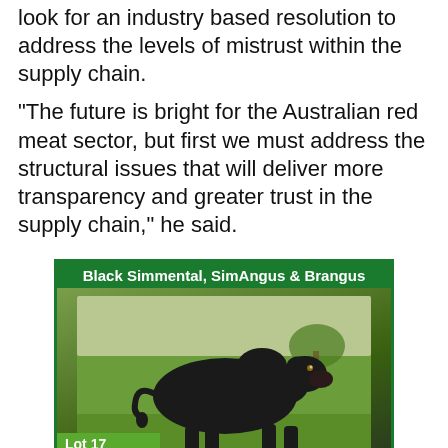look for an industry based resolution to address the levels of mistrust within the supply chain.
"The future is bright for the Australian red meat sector, but first we must address the structural issues that will deliver more transparency and greater trust in the supply chain," he said.
[Figure (illustration): Advertisement for Bonnydale Black Simmentals. Green bordered ad with header 'Black Simmental, SimAngus & Brangus', photo of a black bull (Lot 17, Proclamation S087), and footer text 'Bonnydale Black Simmentals, 80 Black Bulls, 31st August - Roma' with a B logo.]
it...